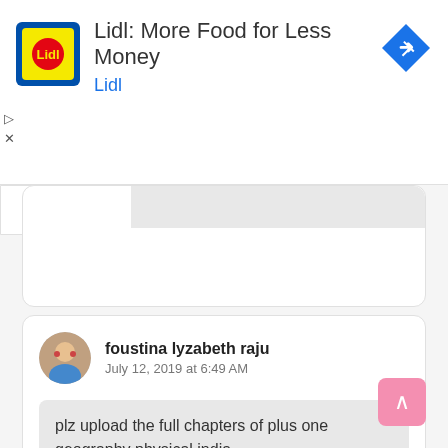[Figure (infographic): Lidl advertisement banner with Lidl logo (yellow/blue square logo), title 'Lidl: More Food for Less Money', subtitle 'Lidl', and a blue navigation/directions icon on the right]
Reply   Delete
foustina lyzabeth raju
July 12, 2019 at 6:49 AM
plz upload the full chapters of plus one geography physical india
Reply   Delete
foustina lyzabeth raju
July 12, 2019 at 7:08 AM